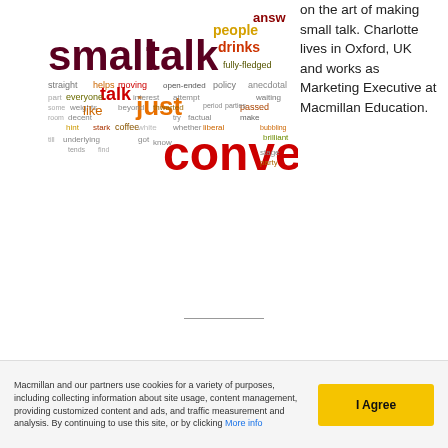[Figure (infographic): Word cloud about small talk with large text reading 'small talk' in dark maroon, 'conve' in red, 'just' in orange, 'talk', 'drinks', 'answers', 'people' and many other words in various colors (red, orange, olive, dark red)]
on the art of making small talk. Charlotte lives in Oxford, UK and works as Marketing Executive at Macmillan Education.
Macmillan and our partners use cookies for a variety of purposes, including collecting information about site usage, content management, providing customized content and ads, and traffic measurement and analysis. By continuing to use this site, or by clicking More info